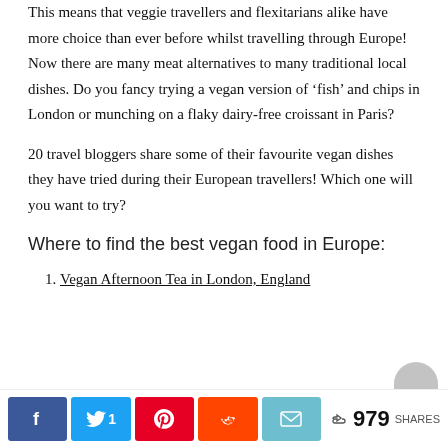This means that veggie travellers and flexitarians alike have more choice than ever before whilst travelling through Europe! Now there are many meat alternatives to many traditional local dishes. Do you fancy trying a vegan version of ‘fish’ and chips in London or munching on a flaky dairy-free croissant in Paris?
20 travel bloggers share some of their favourite vegan dishes they have tried during their European travellers! Which one will you want to try?
Where to find the best vegan food in Europe:
Vegan Afternoon Tea in London, England
[Figure (other): Social sharing bar with Facebook, Twitter (1), Pinterest, Reddit, Email buttons and share count of 979 SHARES]